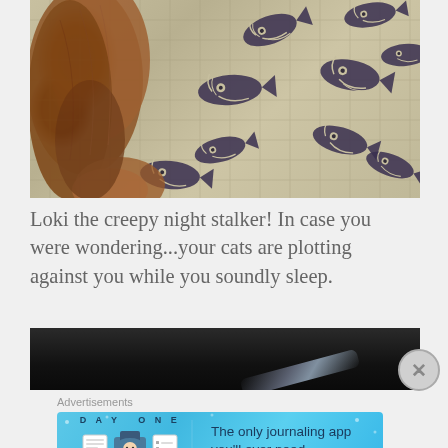[Figure (photo): A cat (Loki) viewed from above, sniffing or looking at a quilted blanket/bedspread with a fish pattern printed on it. The cat is orange/brown tabby visible on the left side.]
Loki the creepy night stalker! In case you were wondering...your cats are plotting against you while you soundly sleep.
[Figure (photo): Dark/black photo, mostly dark tones with a slight reflective surface visible at bottom right, possibly a cat in dark lighting.]
Advertisements
[Figure (screenshot): Advertisement banner for Day One journaling app. Shows 'DAY ONE' text with app icons and text 'The only journaling app you'll ever need.' on a blue gradient background.]